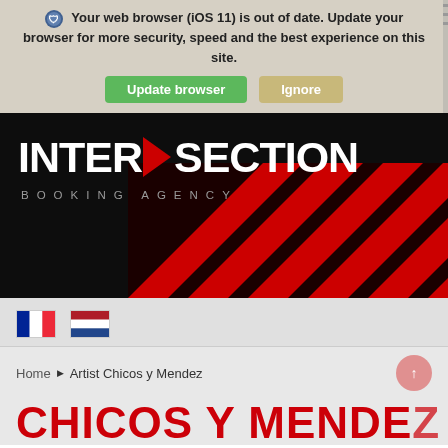Your web browser (iOS 11) is out of date. Update your browser for more security, speed and the best experience on this site.
Update browser | Ignore
[Figure (logo): INTER/SECTION BOOKING AGENCY logo on dark background with red triangle accent between INTER and SECTION]
[Figure (illustration): Red and black diagonal stripes pattern]
[Figure (other): French flag and Netherlands flag icons]
Home > Artist Chicos y Mendez
CHICOS Y MENDEZ